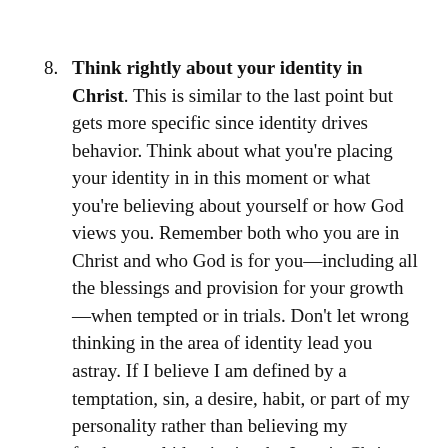8. Think rightly about your identity in Christ. This is similar to the last point but gets more specific since identity drives behavior. Think about what you're placing your identity in in this moment or what you're believing about yourself or how God views you. Remember both who you are in Christ and who God is for you—including all the blessings and provision for your growth—when tempted or in trials. Don't let wrong thinking in the area of identity lead you astray. If I believe I am defined by a temptation, sin, a desire, habit, or part of my personality rather than believing my fundamental identity is who I am in Christ, then we will usually submit to that defining characteristic rather than Jesus.  Again, you might write down lies and truth in these